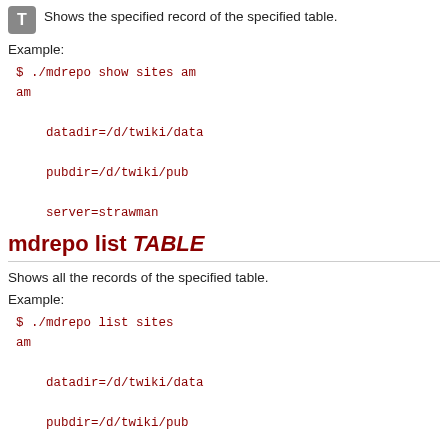Shows the specified record of the specified table.
Example:
$ ./mdrepo show sites am
am
    datadir=/d/twiki/data
    pubdir=/d/twiki/pub
    server=strawman
mdrepo list TABLE
Shows all the records of the specified table.
Example:
$ ./mdrepo list sites
am
    datadir=/d/twiki/data
    pubdir=/d/twiki/pub
    server=strawman

as
    datadir=/share/twiki/data